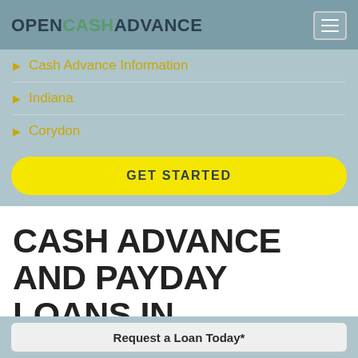OPENCASHADVANCE
Cash Advance Information
Indiana
Corydon
GET STARTED
CASH ADVANCE AND PAYDAY LOANS IN CORYDON, IN.
Request a Loan Today*